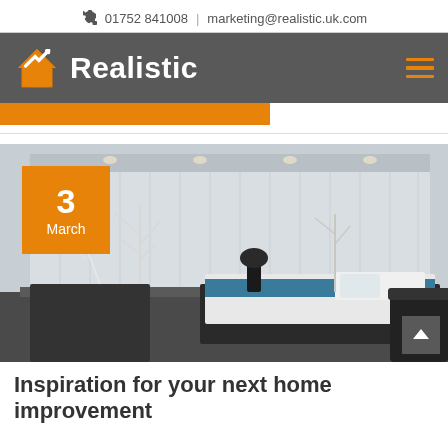📞 01752 841008  |  marketing@realistic.uk.com
[Figure (logo): Realistic logo with orange house checkmark icon and white bold text on dark grey navigation bar]
[Figure (photo): Modern bedroom interior with vertical blinds, recessed lighting, a double bed with blue and white bedding, decorative white tree branches, and dark furniture. Date badge showing '3 March' in orange overlay.]
Inspiration for your next home improvement